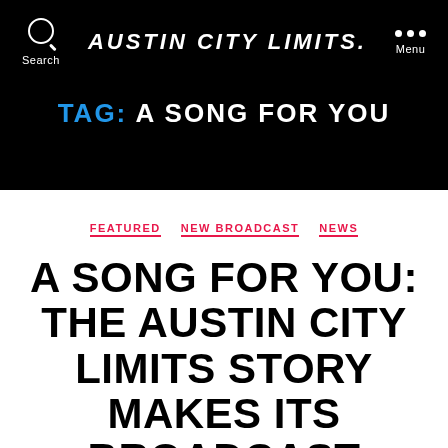AUSTIN CITY LIMITS
TAG: A SONG FOR YOU
FEATURED  NEW BROADCAST  NEWS
A SONG FOR YOU: THE AUSTIN CITY LIMITS STORY MAKES ITS BROADCAST DEBUT ON KLRU-TV